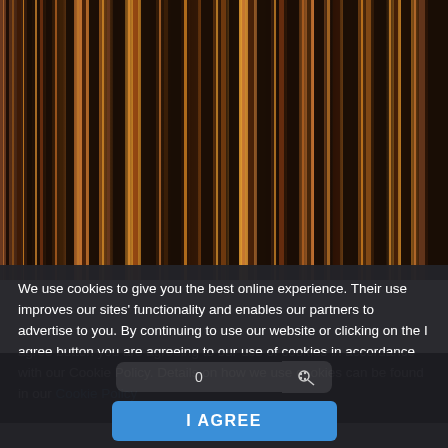[Figure (photo): Abstract vertical stripe image with warm brown, tan, black, and golden tones — like a motion-blurred or color-sorted abstract photograph.]
We use cookies to give you the best online experience. Their use improves our sites' functionality and enables our partners to advertise to you. By continuing to use our website or clicking on the I agree button you are agreeing to our use of cookies in accordance with our Cookie Policy. Details on how we use cookies can be found in our Cookie Policy
[Figure (screenshot): Bottom UI bar with a search input showing '0', a search icon button, and an 'I AGREE' blue button.]